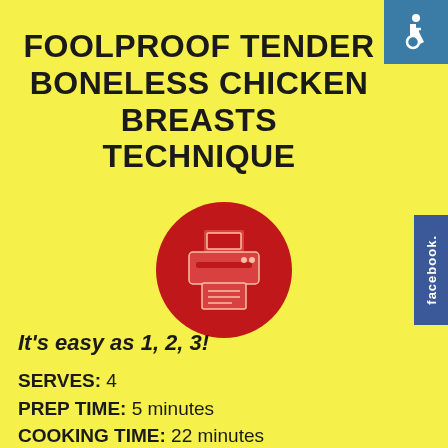FOOLPROOF TENDER BONELESS CHICKEN BREASTS TECHNIQUE
[Figure (illustration): Red circle with white printer icon in the center]
It's easy as 1, 2, 3!
SERVES: 4
PREP TIME: 5 minutes
COOKING TIME: 22 minutes